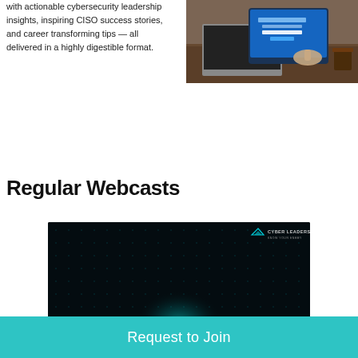with actionable cybersecurity leadership insights, inspiring CISO success stories, and career transforming tips — all delivered in a highly digestible format.
[Figure (photo): Person using a tablet/laptop showing a newsletter subscription screen on a wooden desk]
Regular Webcasts
[Figure (screenshot): Cyber Leadership Institute branded webcast thumbnail with dark background, teal glowing digital network/cyber visual and CLI logo in top right]
Request to Join